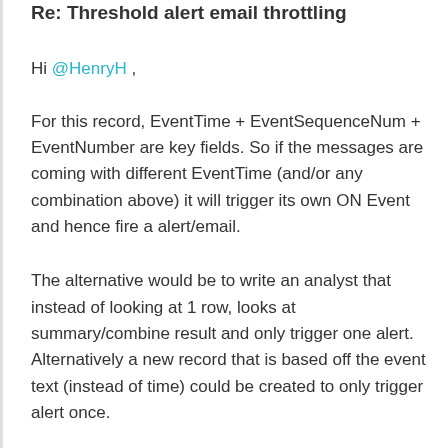Re: Threshold alert email throttling
Hi @HenryH ,
For this record, EventTime + EventSequenceNum + EventNumber are key fields. So if the messages are coming with different EventTime (and/or any combination above) it will trigger its own ON Event and hence fire a alert/email.
The alternative would be to write an analyst that instead of looking at 1 row, looks at summary/combine result and only trigger one alert. Alternatively a new record that is based off the event text (instead of time) could be created to only trigger alert once.